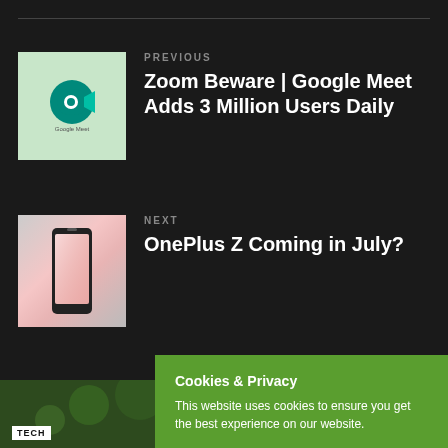PREVIOUS
Zoom Beware | Google Meet Adds 3 Million Users Daily
[Figure (screenshot): Google Meet app logo on light green background]
NEXT
OnePlus Z Coming in July?
[Figure (photo): Hand holding OnePlus smartphone]
Cookies & Privacy
This website uses cookies to ensure you get the best experience on our website.
Accept
[Figure (photo): Green foliage background with TECH label]
[Figure (screenshot): Never Settle OnePlus phone screen]
[Figure (screenshot): Mon Aug 8 news thumbnail]